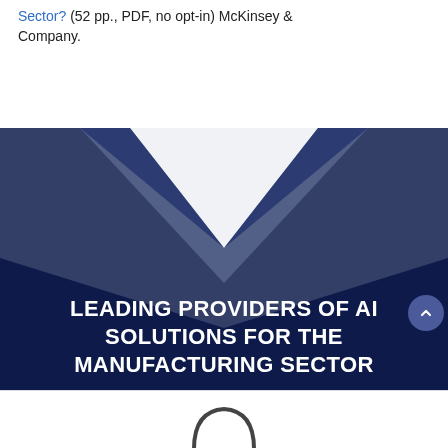Sector? (52 pp., PDF, no opt-in) McKinsey & Company.
[Figure (illustration): Dark navy blue banner with a geometric chevron/arrow shape pointing downward in lighter blue-gray tones, serving as a decorative header background. Text reads: LEADING PROVIDERS OF AI SOLUTIONS FOR THE MANUFACTURING SECTOR]
LEADING PROVIDERS OF AI SOLUTIONS FOR THE MANUFACTURING SECTOR
[Figure (logo): Partial logo visible at bottom of page, appears to be a rounded arch/capsule shape in dark gray outline on white background]